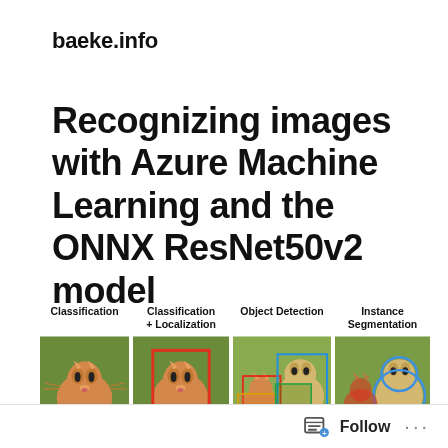baeke.info
Recognizing images with Azure Machine Learning and the ONNX ResNet50v2 model
[Figure (illustration): Four image panels showing computer vision task types: Classification (orange tabby kitten on grass), Classification + Localization (same kitten with red bounding box), Object Detection (dog and cat scene with colored bounding boxes), Instance Segmentation (dog with blue outline, cat with red segmentation mask). Labels above each panel.]
Follow ...